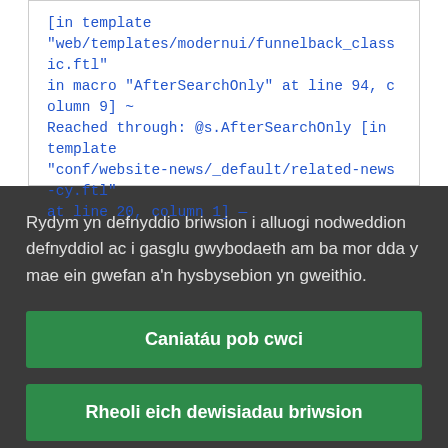[in template "web/templates/modernui/funnelback_classic.ftl" in macro "AfterSearchOnly" at line 94, column 9] ~ Reached through: @s.AfterSearchOnly [in template "conf/website-news/_default/related-news-cy.ftl" at line 20, column 1] —
Rydym yn defnyddio briwsion i alluogi nodweddion defnyddiol ac i gasglu gwybodaeth am ba mor dda y mae ein gwefan a'n hysbysebion yn gweithio.
Caniatáu pob cwci
Rheoli eich dewisiadau briwsion